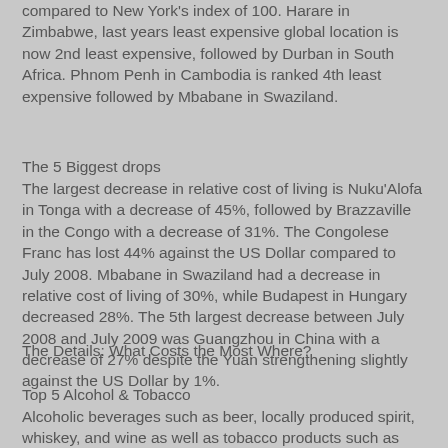compared to New York's index of 100. Harare in Zimbabwe, last years least expensive global location is now 2nd least expensive, followed by Durban in South Africa. Phnom Penh in Cambodia is ranked 4th least expensive followed by Mbabane in Swaziland.
The 5 Biggest drops
The largest decrease in relative cost of living is Nuku'Alofa in Tonga with a decrease of 45%, followed by Brazzaville in the Congo with a decrease of 31%. The Congolese Franc has lost 44% against the US Dollar compared to July 2008. Mbabane in Swaziland had a decrease in relative cost of living of 30%, while Budapest in Hungary decreased 28%. The 5th largest decrease between July 2008 and July 2009 was Guangzhou in China with a decrease of 27% despite the Yuan strengthening slightly against the US Dollar by 1%.
The Details: What Costs the Most Where?
Top 5 Alcohol & Tobacco
Alcoholic beverages such as beer, locally produced spirit, whiskey, and wine as well as tobacco products such as